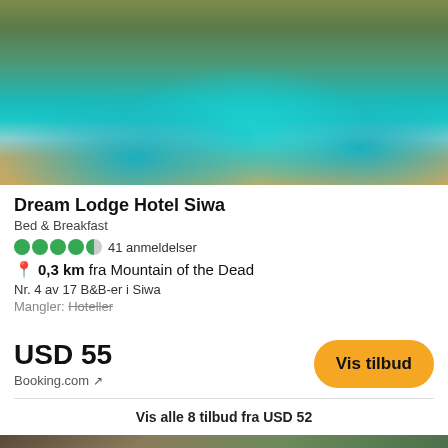[Figure (photo): Hotel pool area with palm trees and stone arches in a desert resort setting, showing a blue swimming pool with reflective water]
Dream Lodge Hotel Siwa
Bed & Breakfast
●●●●◐ 41 anmeldelser
0,3 km fra Mountain of the Dead
Nr. 4 av 17 B&B-er i Siwa
Mangler: Hoteller
USD 55
Booking.com ↗
Vis tilbud
Vis alle 8 tilbud fra USD 52
[Figure (photo): Partial view of another hotel or scene at the bottom of the page]